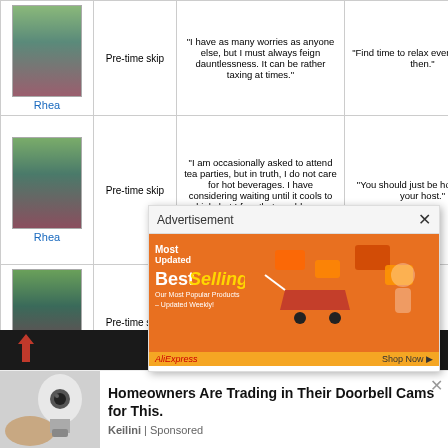| Character | Timing | Support Quote 1 | Support Quote 2 |
| --- | --- | --- | --- |
| Rhea | Pre-time skip | "I have as many worries as anyone else, but I must always feign dauntlessness. It can be rather taxing at times." | "Find time to relax every now and then." |
| Rhea | Pre-time skip | "I am occasionally asked to attend tea parties, but in truth, I do not care for hot beverages. I have considering waiting until it cools to drink, but I fear that would seem rude." | "You should just be honest with your host." |
| Rhea | Pre-time skip | "When I see the s... enthusiastically... together in the di... sometimes wish to jo... wonder if that wo... bother." |  |
| Rhea |  | "I am more than c... protecting myse..." |  |
[Figure (screenshot): Advertisement overlay showing BestSelling AliExpress ad with orange background and shopping cart graphic]
[Figure (infographic): Dark bottom navigation bar with red lightning bolt icon, red brackets [], and grey circle X button]
[Figure (screenshot): Sponsored ad row: Homeowners Are Trading in Their Doorbell Cams for This. Keilini | Sponsored, with a light bulb camera image on the left]